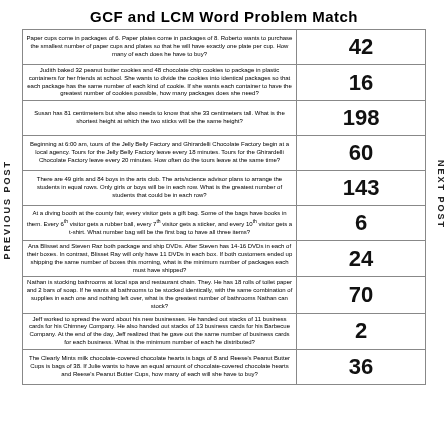GCF and LCM Word Problem Match
| Word Problem | Answer |
| --- | --- |
| Paper cups come in packages of 6. Paper plates come in packages of 8. Roberto wants to purchase the smallest number of paper cups and plates so that he will have exactly one plate per cup. How many of each does he have to buy? | 42 |
| Judith baked 32 peanut butter cookies and 48 chocolate chip cookies to package in plastic containers for her friends at school. She wants to divide the cookies into identical packages so that each package has the same number of each kind of cookie. If she wants each container to have the greatest number of cookies possible, how many packages does she need? | 16 |
| Susan has 81 centimeters but she also needs to know that she 33 centimeters tall. What is the shortest height at which the two sticks will be the same height? | 198 |
| Beginning at 6:00 am, tours of the Jelly Belly Factory and Ghirardelli Chocolate Factory begin at a local agency. Tours for the Jelly Belly Factory leave every 18 minutes. Tours for the Ghirardelli Chocolate Factory leave every 20 minutes. How often do the tours leave at the same time? | 60 |
| There are 49 girls and 84 boys in the arts club. The arts/science advisor plans to arrange the students in equal rows. Only girls or boys will be in each row. What is the greatest number of students that could be in each row? | 143 |
| At a diving booth at the county fair, every visitor gets a gift bag. Some of the bags have books in them. Every 6th visitor gets a rubber ball, every 7th visitor gets a sticker, and every 10th visitor gets a t-shirt. What number bag will be the first bag to have all three items? | 6 |
| Ana Blisset and Steven Raz both package and ship DVDs. After Steven has 14-16 DVDs in each of their boxes. In contrast, Blisset Ray will only have 11 DVDs in each box. If both customers ended up shipping the same number of boxes this morning, what is the minimum number of packages each must have shipped? | 24 |
| Nathan is stocking bathrooms at local spa and restaurant chain. They. He has 18 rolls of toilet paper and 2 bars of soap. If he wants all bathrooms to be stocked identically, with the same combination of supplies in each one and nothing left over, what is the greatest number of bathrooms Nathan can stock? | 70 |
| Jeff worked to spread the word about his new businesses. He handed out stacks of 11 business cards for his Chimney Company. He also handed out stacks of 13 business cards for his Barbecue Company. At the end of the day, Jeff realized that he gave out the same number of business cards for each business. What is the minimum number of each he distributed? | 2 |
| The Clearly Mints milk chocolate-covered chocolate hearts is bags of 8 and Reese's Peanut Butter Cups is bags of 38. If Julie wants to have an equal amount of chocolate-covered chocolate hearts and Reese's Peanut Butter Cups, how many of each will she have to buy? | 36 |